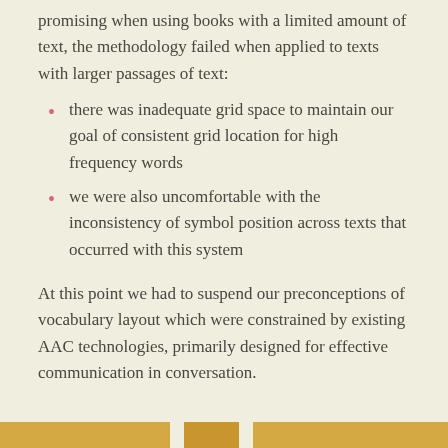promising when using books with a limited amount of text, the methodology failed when applied to texts with larger passages of text:
there was inadequate grid space to maintain our goal of consistent grid location for high frequency words
we were also uncomfortable with the inconsistency of symbol position across texts that occurred with this system
At this point we had to suspend our preconceptions of vocabulary layout which were constrained by existing AAC technologies, primarily designed for effective communication in conversation.